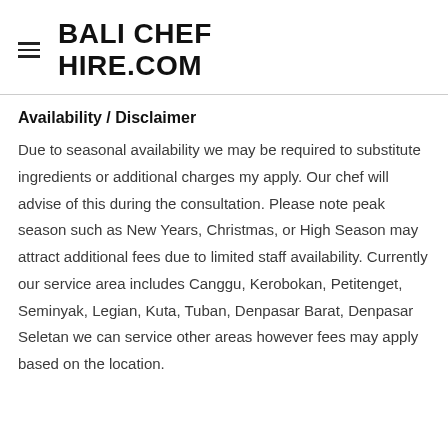BALI CHEF HIRE.COM
Availability / Disclaimer
Due to seasonal availability we may be required to substitute ingredients or additional charges my apply. Our chef will advise of this during the consultation. Please note peak season such as New Years, Christmas, or High Season may attract additional fees due to limited staff availability. Currently our service area includes Canggu, Kerobokan, Petitenget, Seminyak, Legian, Kuta, Tuban, Denpasar Barat, Denpasar Seletan we can service other areas however fees may apply based on the location.